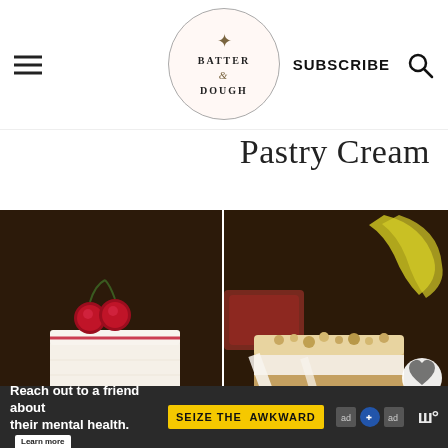Batter & Dough — SUBSCRIBE
Pastry Cream
[Figure (photo): Slice of white cream cake topped with two maraschino cherries on a white plate with a gold fork, on a dark wood background]
[Figure (photo): Slice of crumbled nut-topped cake with white cream filling on a white plate with a gold fork, bananas visible in background on dark wood]
Reach out to a friend about their mental health. Learn more — SEIZE THE AWKWARD